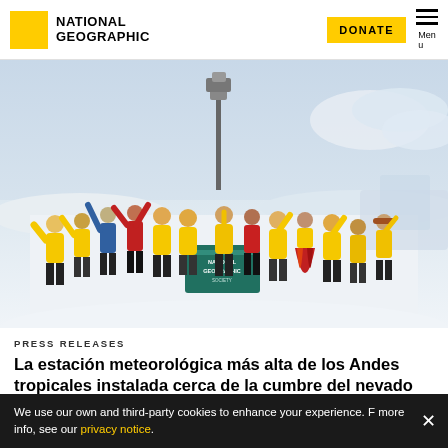NATIONAL GEOGRAPHIC
[Figure (photo): Group of approximately 15 people in yellow and red winter gear, some in traditional Andean dress, celebrating on a snowy mountain summit while holding a National Geographic Society banner. Snow and cloudy sky in background.]
PRESS RELEASES
La estación meteorológica más alta de los Andes tropicales instalada cerca de la cumbre del nevado Ausangate en Perú
We use our own and third-party cookies to enhance your experience. For more info, see our privacy notice.